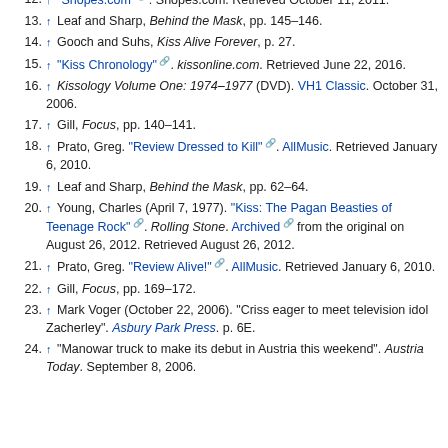12. ↑ "Snopes.com". Snopes.com. Retrieved October 11, 2011.
13. ↑ Leaf and Sharp, Behind the Mask, pp. 145–146.
14. ↑ Gooch and Suhs, Kiss Alive Forever, p. 27.
15. ↑ "Kiss Chronology". kissonline.com. Retrieved June 22, 2016.
16. ↑ Kissology Volume One: 1974–1977 (DVD). VH1 Classic. October 31, 2006.
17. ↑ Gill, Focus, pp. 140–141.
18. ↑ Prato, Greg. "Review Dressed to Kill". AllMusic. Retrieved January 6, 2010.
19. ↑ Leaf and Sharp, Behind the Mask, pp. 62–64.
20. ↑ Young, Charles (April 7, 1977). "Kiss: The Pagan Beasties of Teenage Rock". Rolling Stone. Archived from the original on August 26, 2012. Retrieved August 26, 2012.
21. ↑ Prato, Greg. "Review Alive!". AllMusic. Retrieved January 6, 2010.
22. ↑ Gill, Focus, pp. 169–172.
23. ↑ Mark Voger (October 22, 2006). "Criss eager to meet television idol Zacherley". Asbury Park Press. p. 6E.
24. ↑ "Manowar truck to make its debut in Austria this weekend". Austria Today. September 8, 2006.